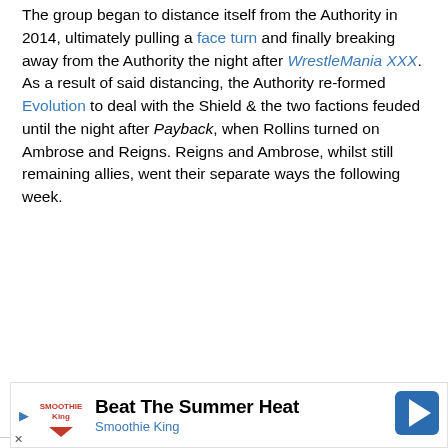The group began to distance itself from the Authority in 2014, ultimately pulling a face turn and finally breaking away from the Authority the night after WrestleMania XXX. As a result of said distancing, the Authority re-formed Evolution to deal with the Shield & the two factions feuded until the night after Payback, when Rollins turned on Ambrose and Reigns. Reigns and Ambrose, whilst still remaining allies, went their separate ways the following week.
Advertisement:
[Figure (other): Advertisement banner for Smoothie King: Beat The Summer Heat]